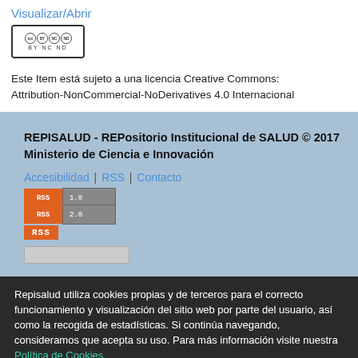Visualizar/Abrir
[Figure (logo): Creative Commons BY NC ND license badge]
Este Item está sujeto a una licencia Creative Commons: Attribution-NonCommercial-NoDerivatives 4.0 Internacional
REPISALUD - REPositorio Institucional de SALUD © 2017 Ministerio de Ciencia e Innovación
Accesibilidad | RSS | Contacto
[Figure (screenshot): RSS 1.0, RSS 2.0, and RSS feed badges]
Repisalud utiliza cookies propias y de terceros para el correcto funcionamiento y visualización del sitio web por parte del usuario, así como la recogida de estadísticas. Si continúa navegando, consideramos que acepta su uso. Para más información visite nuestra Política de Cookies
Configuración
Descartar todas
De acuerdo